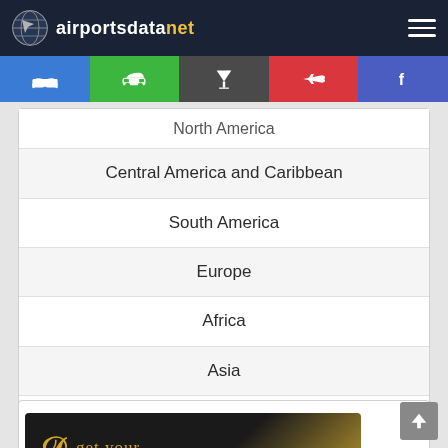airportsdatanet
North America
Central America and Caribbean
South America
Europe
Africa
Asia
Oceania
[Figure (screenshot): Advertisement banner — dark background with gold 'D' letter and 'get your' text in gold]